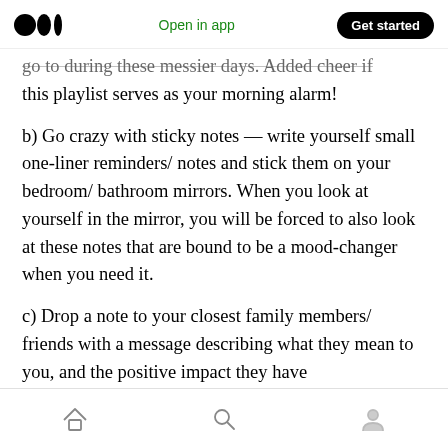Medium logo | Open in app | Get started
go to during these messier days. Added cheer if this playlist serves as your morning alarm!
b) Go crazy with sticky notes — write yourself small one-liner reminders/ notes and stick them on your bedroom/ bathroom mirrors. When you look at yourself in the mirror, you will be forced to also look at these notes that are bound to be a mood-changer when you need it.
c) Drop a note to your closest family members/ friends with a message describing what they mean to you, and the positive impact they have
Home | Search | Profile